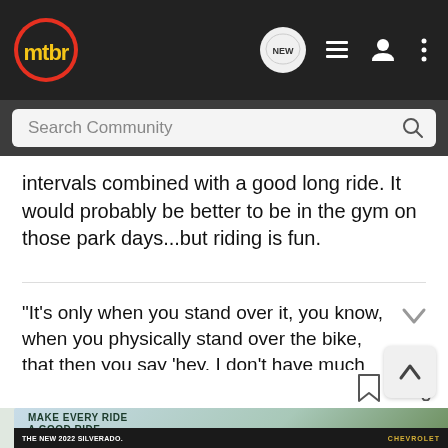mtbr [navigation header with NEW, list, user, more icons]
Search Community
intervals combined with a good long ride. It would probably be better to be in the gym on those park days...but riding is fun.
"It's only when you stand over it, you know, when you physically stand over the bike, that then you say 'hey, I don't have much stand
[Figure (screenshot): Advertisement banner: MAKE EVERY RIDE A GOOD RIDE with a mountain biker image, and THE NEW 2022 SILVERADO. Chevrolet ad below with a truck image]